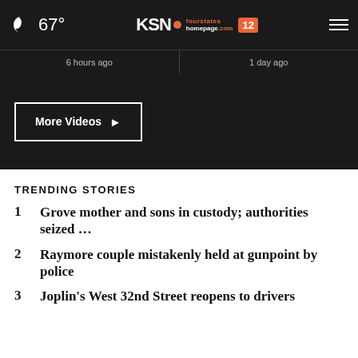67° KSN fourstates homepage.com 12
6 hours ago    1 day ago
More Videos ▶
TRENDING STORIES
1 Grove mother and sons in custody; authorities seized …
2 Raymore couple mistakenly held at gunpoint by police
3 Joplin's West 32nd Street reopens to drivers